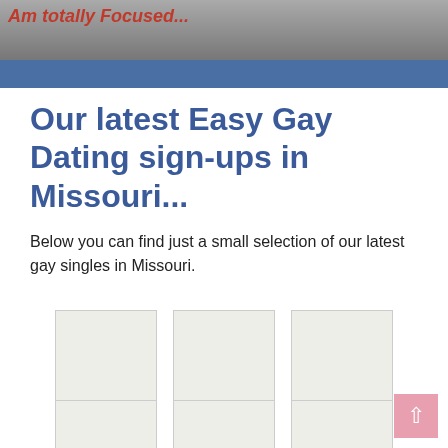[Figure (photo): Top header area with a person photo, partially visible, dark background with red italic text overlay]
Our latest Easy Gay Dating sign-ups in Missouri...
Below you can find just a small selection of our latest gay singles in Missouri.
[Figure (photo): Profile placeholder image for Misha, 29]
Misha,29
[Figure (photo): Profile placeholder image for Hannah, 26]
Hannah,26
[Figure (photo): Profile placeholder image for Brooklyn, 27]
Brooklyn,27
[Figure (photo): Profile placeholder image, row 2 left, no label visible]
[Figure (photo): Profile placeholder image, row 2 center, no label visible]
[Figure (photo): Profile placeholder image, row 2 right, no label visible]